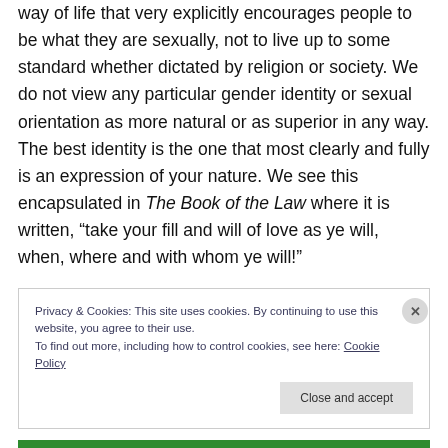way of life that very explicitly encourages people to be what they are sexually, not to live up to some standard whether dictated by religion or society. We do not view any particular gender identity or sexual orientation as more natural or as superior in any way. The best identity is the one that most clearly and fully is an expression of your nature. We see this encapsulated in The Book of the Law where it is written, “take your fill and will of love as ye will, when, where and with whom ye will!”
Privacy & Cookies: This site uses cookies. By continuing to use this website, you agree to their use. To find out more, including how to control cookies, see here: Cookie Policy
Close and accept